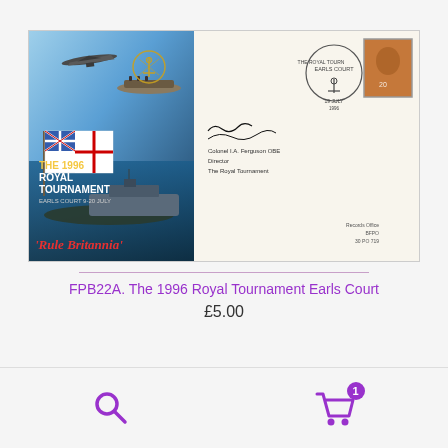[Figure (photo): A First Day Cover envelope for The 1996 Royal Tournament Earls Court, 9-20 July. The left portion shows an artistic illustration with a Harrier jet, military vessels, a Union Jack / White Ensign flag, a submarine, a naval warship, and the text 'Rule Britannia' in red italic script. The right portion shows the cream envelope with a postmark and a brown Queen Elizabeth II stamp. There is a signature area reading 'Colonel I.A. Ferguson OBE, Director, The Royal Tournament'. Bottom right shows 'Records Office' text.]
FPB22A. The 1996 Royal Tournament Earls Court
£5.00